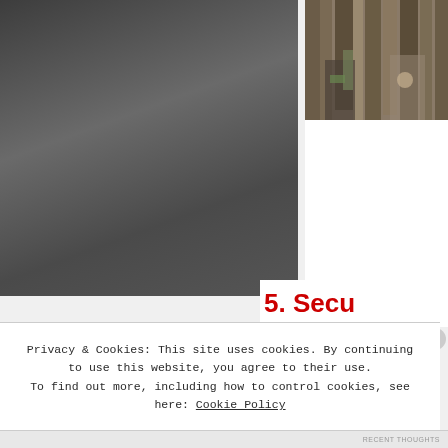[Figure (photo): Large dark grey/charcoal photograph occupying the left portion of the page, showing an outdoor scene with dark tones]
[Figure (photo): Small photograph in upper right showing trees/forest scene with brown and green tones, appearing to show a person among trees]
5. Secu
Privacy & Cookies: This site uses cookies. By continuing to use this website, you agree to their use.
To find out more, including how to control cookies, see here: Cookie Policy
Close and accept
RECENT THOUGHTS